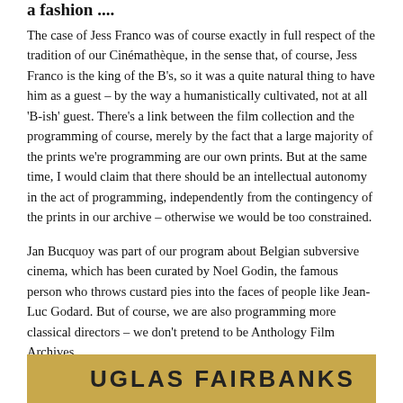a fashion ....
The case of Jess Franco was of course exactly in full respect of the tradition of our Cinémathèque, in the sense that, of course, Jess Franco is the king of the B’s, so it was a quite natural thing to have him as a guest – by the way a humanistically cultivated, not at all ‘B-ish’ guest. There’s a link between the film collection and the programming of course, merely by the fact that a large majority of the prints we’re programming are our own prints. But at the same time, I would claim that there should be an intellectual autonomy in the act of programming, independently from the contingency of the prints in our archive – otherwise we would be too constrained.
Jan Bucquoy was part of our program about Belgian subversive cinema, which has been curated by Noel Godin, the famous person who throws custard pies into the faces of people like Jean-Luc Godard. But of course, we are also programming more classical directors – we don’t pretend to be Anthology Film Archives.
[Figure (photo): Partial view of what appears to be a vintage film poster or book cover featuring the text 'DOUGLAS FAIRBANKS' in large letters on a yellow/golden background.]